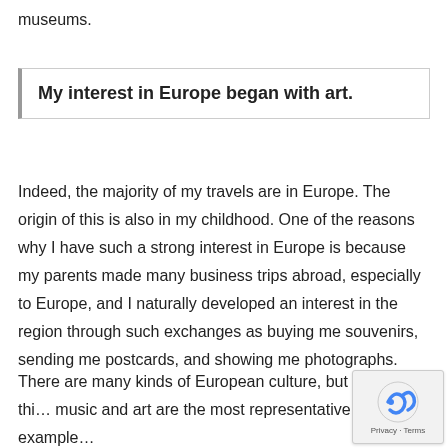museums.
My interest in Europe began with art.
Indeed, the majority of my travels are in Europe. The origin of this is also in my childhood. One of the reasons why I have such a strong interest in Europe is because my parents made many business trips abroad, especially to Europe, and I naturally developed an interest in the region through such exchanges as buying me souvenirs, sending me postcards, and showing me photographs.
There are many kinds of European culture, but I thi… music and art are the most representative example…